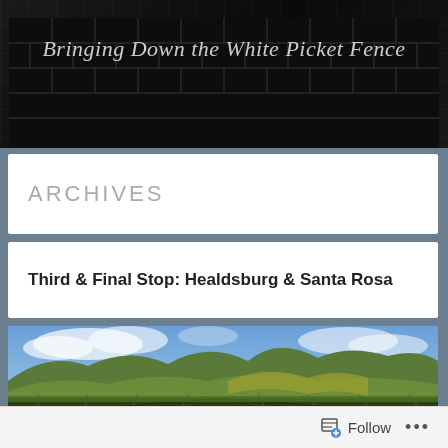[Figure (photo): Blog header banner with dark stone/cobblestone texture background and cursive italic text reading 'Bringing Down the White Picket Fence']
ARCHIVES
Third & Final Stop: Healdsburg & Santa Rosa
[Figure (photo): Landscape photograph of a vineyard with rows of grapevines in the foreground, rolling green hills and mountains in the background, dramatic cloudy blue sky above]
Follow ...